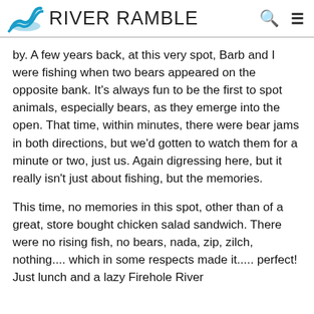RIVER RAMBLE
by.  A few years back, at this very spot, Barb and I were fishing when two bears appeared on the opposite bank. It's always fun to be the first to spot animals, especially bears, as they emerge into the open.  That time, within minutes, there were bear jams in both directions, but we'd gotten to watch them for a minute or two, just us.  Again digressing here, but it really isn't just about fishing, but the memories.
This time, no memories in this spot, other than of a great, store bought chicken salad sandwich. There were no rising fish, no bears, nada, zip, zilch, nothing.... which in some respects made it..... perfect!  Just lunch and a lazy Firehole River